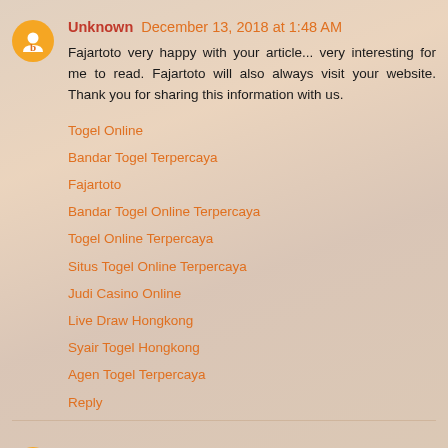Unknown December 13, 2018 at 1:48 AM
Fajartoto very happy with your article... very interesting for me to read. Fajartoto will also always visit your website. Thank you for sharing this information with us.
Togel Online
Bandar Togel Terpercaya
Fajartoto
Bandar Togel Online Terpercaya
Togel Online Terpercaya
Situs Togel Online Terpercaya
Judi Casino Online
Live Draw Hongkong
Syair Togel Hongkong
Agen Togel Terpercaya
Reply
Unknown May 29, 2019 at 7:26 PM
You have a good point here!I totally agree with what you have